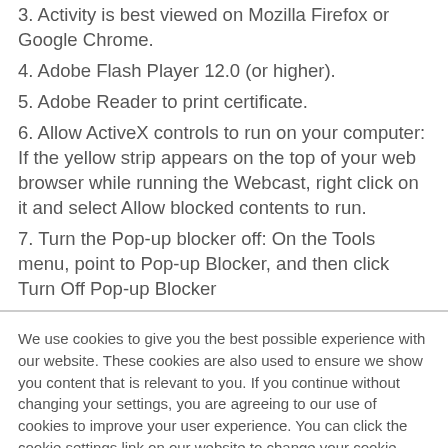3. Activity is best viewed on Mozilla Firefox or Google Chrome.
4. Adobe Flash Player 12.0 (or higher).
5. Adobe Reader to print certificate.
6. Allow ActiveX controls to run on your computer: If the yellow strip appears on the top of your web browser while running the Webcast, right click on it and select Allow blocked contents to run.
7. Turn the Pop-up blocker off: On the Tools menu, point to Pop-up Blocker, and then click Turn Off Pop-up Blocker
We use cookies to give you the best possible experience with our website. These cookies are also used to ensure we show you content that is relevant to you. If you continue without changing your settings, you are agreeing to our use of cookies to improve your user experience. You can click the cookie settings link on our website to change your cookie settings at any time. Note: The MDS site uses related multiple domains, including mds.movementdisorders.org and mds.execinc.com. This cookie policy only covers the primary movementdisorders.org and mdscongress.org domain. Please refer to the MDS Privacy Policy for information on how to configure cookies for all other domains on the